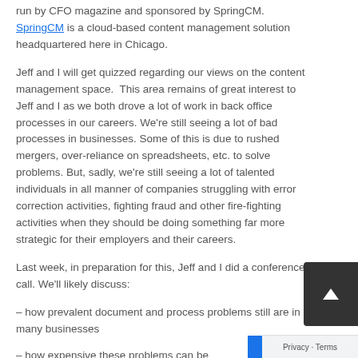run by CFO magazine and sponsored by SpringCM. SpringCM is a cloud-based content management solution headquartered here in Chicago.
Jeff and I will get quizzed regarding our views on the content management space. This area remains of great interest to Jeff and I as we both drove a lot of work in back office processes in our careers. We're still seeing a lot of bad processes in businesses. Some of this is due to rushed mergers, over-reliance on spreadsheets, etc. to solve problems. But, sadly, we're still seeing a lot of talented individuals in all manner of companies struggling with error correction activities, fighting fraud and other fire-fighting activities when they should be doing something far more strategic for their employers and their careers.
Last week, in preparation for this, Jeff and I did a conference call. We'll likely discuss:
– how prevalent document and process problems still are in many businesses
– how expensive these problems can be